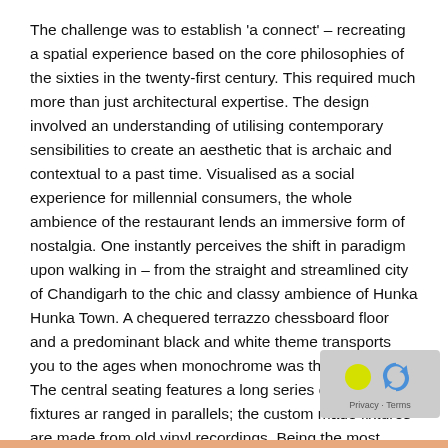The challenge was to establish 'a connect' – recreating a spatial experience based on the core philosophies of the sixties in the twenty-first century. This required much more than just architectural expertise. The design involved an understanding of utilising contemporary sensibilities to create an aesthetic that is archaic and contextual to a past time. Visualised as a social experience for millennial consumers, the whole ambience of the restaurant lends an immersive form of nostalgia. One instantly perceives the shift in paradigm upon walking in – from the straight and streamlined city of Chandigarh to the chic and classy ambience of Hunka Hunka Town. A chequered terrazzo chessboard floor and a predominant black and white theme transports you to the ages when monochrome was the new trend. The central seating features a long series of lighting fixtures ar ranged in parallels; the custom made fixtures are made from old vinyl recordings. Being the most prominent visual element, th fixtures provide the theme of nostalgia to the restauran